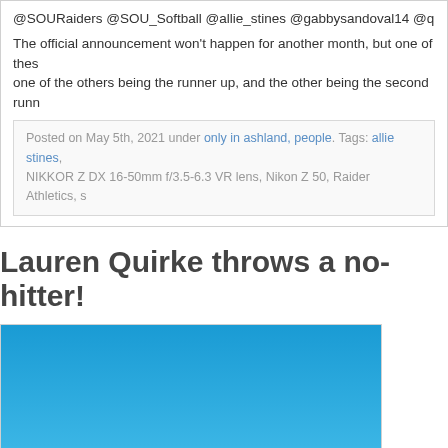@SOURaiders @SOU_Softball @allie_stines @gabbysandoval14 @quirke
The official announcement won't happen for another month, but one of these one of the others being the runner up, and the other being the second runn
Posted on May 5th, 2021 under only in ashland, people. Tags: allie stines, NIKKOR Z DX 16-50mm f/3.5-6.3 VR lens, Nikon Z 50, Raider Athletics, s
Lauren Quirke throws a no-hitter!
[Figure (photo): Blue sky with white clouds, outdoors photo likely at a softball field]